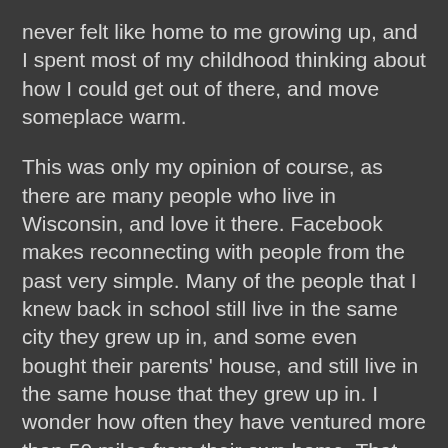never felt like home to me growing up, and I spent most of my childhood thinking about how I could get out of there, and move someplace warm.
This was only my opinion of course, as there are many people who live in Wisconsin, and love it there. Facebook makes reconnecting with people from the past very simple. Many of the people that I knew back in school still live in the same city they grew up in, and some even bought their parents' house, and still live in the same house that they grew up in. I wonder how often they have ventured more than 50 miles from their own home. That would seem kind of boring to me, but they obviously enjoy being there enough to make it their home.
Most summers we would go visit family in the country. Most of them were farmers in the Black Hills of South Dakota. The rolling hills to...